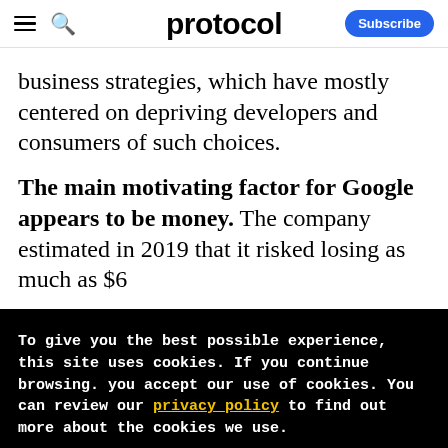protocol | Subscribe
business strategies, which have mostly centered on depriving developers and consumers of such choices.
The main motivating factor for Google appears to be money. The company estimated in 2019 that it risked losing as much as $6
To give you the best possible experience, this site uses cookies. If you continue browsing. you accept our use of cookies. You can review our privacy policy to find out more about the cookies we use.
Accept